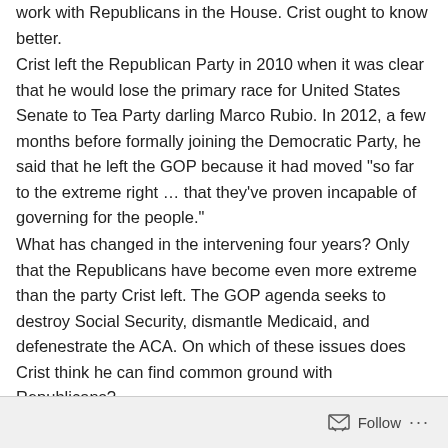work with Republicans in the House. Crist ought to know better.
Crist left the Republican Party in 2010 when it was clear that he would lose the primary race for United States Senate to Tea Party darling Marco Rubio. In 2012, a few months before formally joining the Democratic Party, he said that he left the GOP because it had moved “so far to the extreme right … that they’ve proven incapable of governing for the people.”
What has changed in the intervening four years? Only that the Republicans have become even more extreme than the party Crist left. The GOP agenda seeks to destroy Social Security, dismantle Medicaid, and defenestrate the ACA. On which of these issues does Crist think he can find common ground with Republicans?
Follow